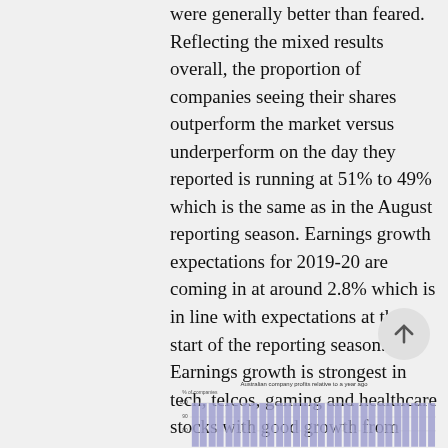were generally better than feared. Reflecting the mixed results overall, the proportion of companies seeing their shares outperform the market versus underperform on the day they reported is running at 51% to 49% which is the same as in the August reporting season. Earnings growth expectations for 2019-20 are coming in at around 2.8% which is in line with expectations at the start of the reporting season. Earnings growth is strongest in tech, telcos, gaming and healthcare stocks with good growth from resources stocks and weakest amongst utilities, media, and insurers.
[Figure (bar-chart): Partially visible bar chart showing Australian company profits relative to a year ago, with y-axis showing % of companies up to 100, 90, 80 visible.]